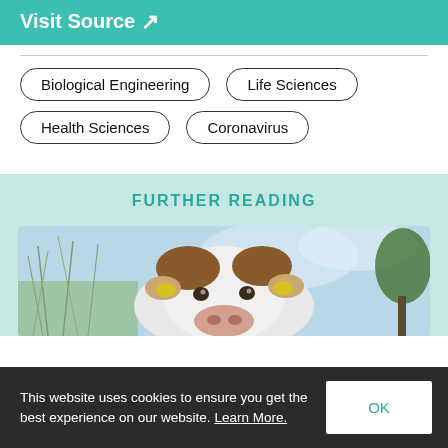Visit Source ↗
Biological Engineering
Life Sciences
Health Sciences
Coronavirus
FURTHER READING
[Figure (photo): Close-up photo of a cow's face looking at the camera, with grass stalks and blue sky with trees in background. The cow has ear tags.]
This website uses cookies to ensure you get the best experience on our website. Learn More.